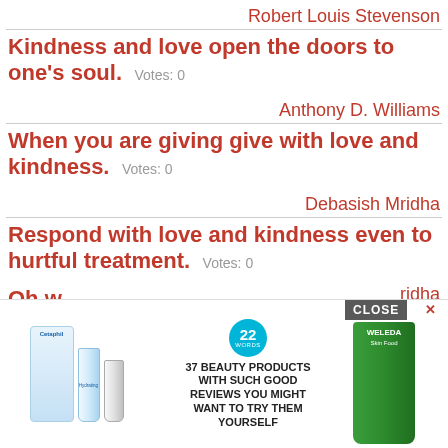Robert Louis Stevenson
Kindness and love open the doors to one's soul. Votes: 0
Anthony D. Williams
When you are giving give with love and kindness. Votes: 0
Debasish Mridha
Respond with love and kindness even to hurtful treatment. Votes: 0
[Figure (screenshot): Advertisement overlay showing beauty products: Cetaphil hydrating products, a badge reading '22 WORDS 37 BEAUTY PRODUCTS WITH SUCH GOOD REVIEWS YOU MIGHT WANT TO TRY THEM YOURSELF', a Weleda green tube, and a CLOSE button with X]
Oh w... count...